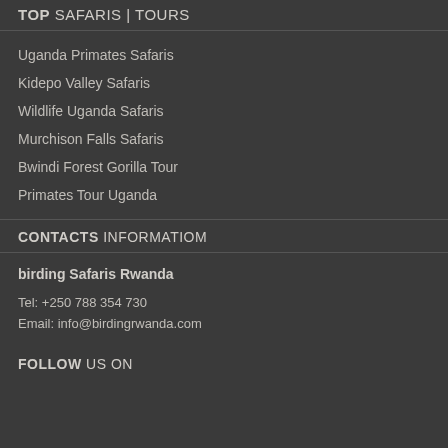TOP SAFARIS | TOURS
Uganda Primates Safaris
Kidepo Valley Safaris
Wildlife Uganda Safaris
Murchison Falls Safaris
Bwindi Forest Gorilla Tour
Primates Tour Uganda
CONTACTS INFORMATIOM
birding Safaris Rwanda
Tel: +250 788 354 730
Email: info@birdingrwanda.com
FOLLOW US ON